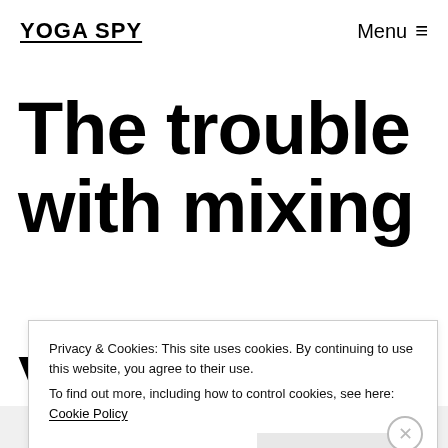YOGA SPY   Menu ≡
The trouble with mixing
Privacy & Cookies: This site uses cookies. By continuing to use this website, you agree to their use.
To find out more, including how to control cookies, see here: Cookie Policy
Close and accept